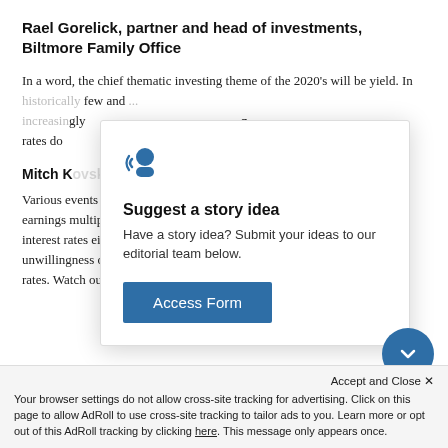Rael Gorelick, partner and head of investments, Biltmore Family Office
In a word, the chief thematic investing theme of the 2020's will be yield. In historically... few and ... increasing... n rates do...
[Figure (screenshot): Modal popup titled 'Suggest a story idea' with person/speaker icon, body text 'Have a story idea? Submit your ideas to our editorial team below.' and a blue 'Access Form' button.]
Mitch K...
Various events and environments could cause a contraction in earnings multiples, but I would say the most likely is an i... in interest rates either brought upon by resurgent inflation... unwillingness of foreigners to fund our debt at near-zero interest rates. Watch out for higher rates. It could be the single largest
Accept and Close ✕
Your browser settings do not allow cross-site tracking for advertising. Click on this page to allow AdRoll to use cross-site tracking to tailor ads to you. Learn more or opt out of this AdRoll tracking by clicking here. This message only appears once.